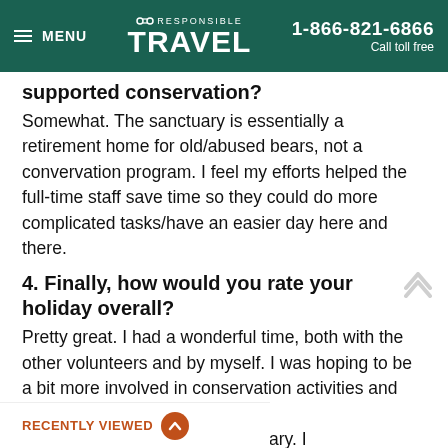MENU | RESPONSIBLE TRAVEL | 1-866-821-6866 Call toll free
supported conservation?
Somewhat. The sanctuary is essentially a retirement home for old/abused bears, not a convervation program. I feel my efforts helped the full-time staff save time so they could do more complicated tasks/have an easier day here and there.
4. Finally, how would you rate your holiday overall?
Pretty great. I had a wonderful time, both with the other volunteers and by myself. I was hoping to be a bit more involved in conservation activities and ... that this was not at all a ... solely a sanctuary. I